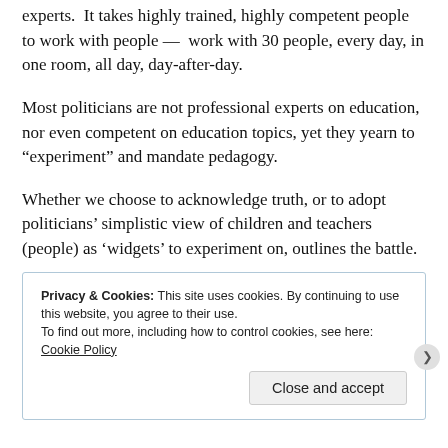experts.  It takes highly trained, highly competent people to work with people —  work with 30 people, every day, in one room, all day, day-after-day.
Most politicians are not professional experts on education, nor even competent on education topics, yet they yearn to “experiment” and mandate pedagogy.
Whether we choose to acknowledge truth, or to adopt politicians’ simplistic view of children and teachers (people) as ‘widgets’ to experiment on, outlines the battle.
Privacy & Cookies: This site uses cookies. By continuing to use this website, you agree to their use.
To find out more, including how to control cookies, see here: Cookie Policy